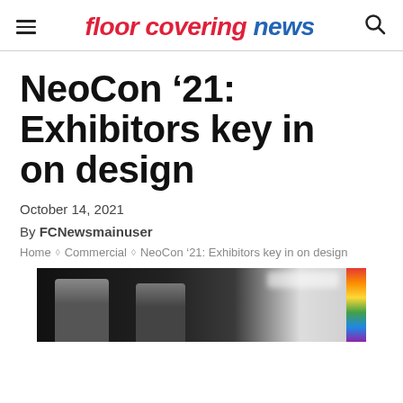floor covering news
NeoCon '21: Exhibitors key in on design
October 14, 2021
By FCNewsmainuser
Home ◇ Commercial ◇ NeoCon '21: Exhibitors key in on design
[Figure (photo): Two people standing in front of a dark background at the NeoCon '21 exhibition, with colorful display panels visible on the right side and overhead lighting]